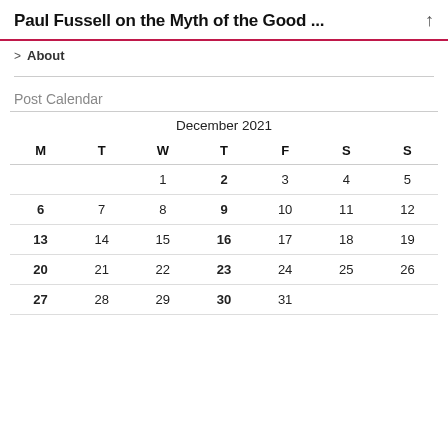Paul Fussell on the Myth of the Good ...
> About
Post Calendar
| M | T | W | T | F | S | S |
| --- | --- | --- | --- | --- | --- | --- |
|  |  | 1 | 2 | 3 | 4 | 5 |
| 6 | 7 | 8 | 9 | 10 | 11 | 12 |
| 13 | 14 | 15 | 16 | 17 | 18 | 19 |
| 20 | 21 | 22 | 23 | 24 | 25 | 26 |
| 27 | 28 | 29 | 30 | 31 |  |  |